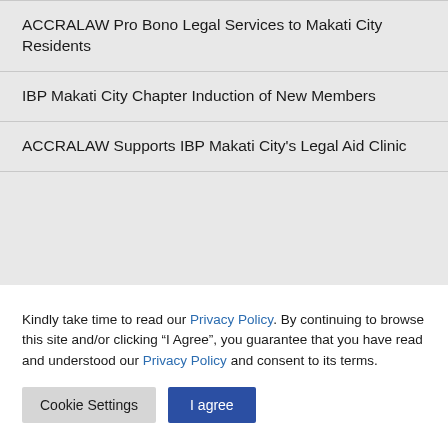ACCRALAW Pro Bono Legal Services to Makati City Residents
IBP Makati City Chapter Induction of New Members
ACCRALAW Supports IBP Makati City's Legal Aid Clinic
Kindly take time to read our Privacy Policy. By continuing to browse this site and/or clicking “I Agree”, you guarantee that you have read and understood our Privacy Policy and consent to its terms.